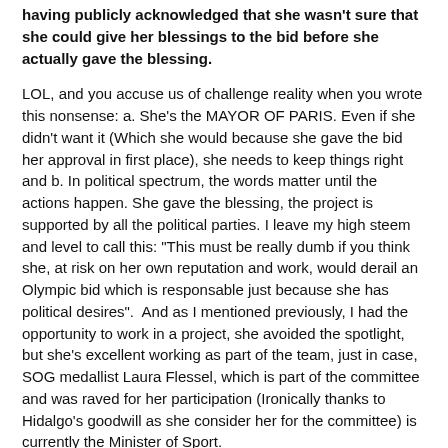having publicly acknowledged that she wasn't sure that she could give her blessings to the bid before she actually gave the blessing.
LOL, and you accuse us of challenge reality when you wrote this nonsense: a. She's the MAYOR OF PARIS. Even if she didn't want it (Which she would because she gave the bid her approval in first place), she needs to keep things right and b. In political spectrum, the words matter until the actions happen. She gave the blessing, the project is supported by all the political parties. I leave my high steem and level to call this: "This must be really dumb if you think she, at risk on her own reputation and work, would derail an Olympic bid which is responsable just because she has political desires". And as I mentioned previously, I had the opportunity to work in a project, she avoided the spotlight, but she's excellent working as part of the team, just in case, SOG medallist Laura Flessel, which is part of the committee and was raved for her participation (Ironically thanks to Hidalgo's goodwill as she consider her for the committee) is currently the Minister of Sport.
By the same token Macron is a star in France right now, and if